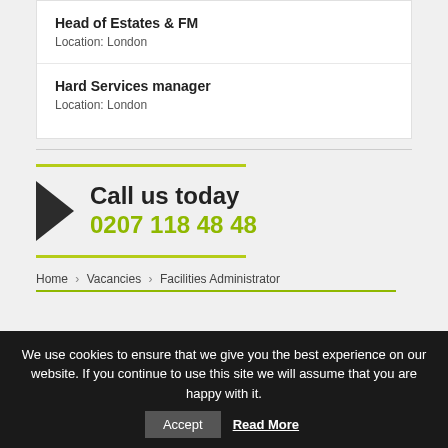Head of Estates & FM
Location: London
Hard Services manager
Location: London
Call us today
0207 118 48 48
Home › Vacancies › Facilities Administrator
We use cookies to ensure that we give you the best experience on our website. If you continue to use this site we will assume that you are happy with it.